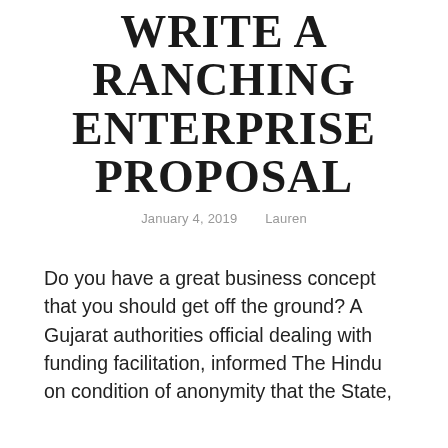WRITE A RANCHING ENTERPRISE PROPOSAL
January 4, 2019    Lauren
Do you have a great business concept that you should get off the ground? A Gujarat authorities official dealing with funding facilitation, informed The Hindu on condition of anonymity that the State,